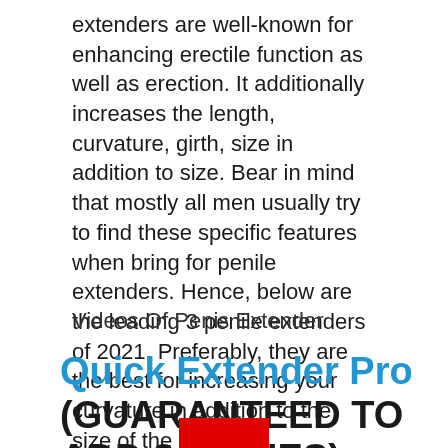extenders are well-known for enhancing erectile function as well as erection. It additionally increases the length, curvature, girth, size in addition to size. Bear in mind that mostly all men usually try to find these specific features when bring for penile extenders. Hence, below are the leading 3 penile extenders of 2021. Preferably, they are the best for increasing your curvature in addition to the size of the penis.
Videos Of Penis Extender
Quick Extender Pro (GUARANTEED TO ADD 3 INCHES)
[Figure (other): Red rectangle bar visible at bottom of page]